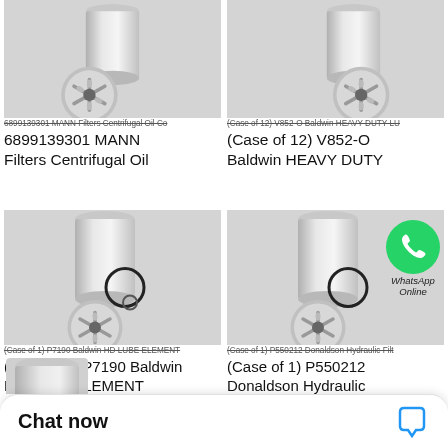[Figure (photo): Top-left: Photo of MANN Filters centrifugal oil filter, silver cylindrical canister with end cap showing star pattern]
6899139301 MANN Filters Centrifugal Oil Co
6899139301 MANN Filters Centrifugal Oil
[Figure (photo): Top-right: Photo of Baldwin V852-O heavy duty filter, silver cylindrical canister]
(Case of 12) V852-O Baldwin HEAVY DUTY LU
(Case of 12) V852-O Baldwin HEAVY DUTY
[Figure (photo): Bottom-left: Photo of Baldwin P7190 HD Lube Element filter with O-ring]
(Case of 1) P7190 Baldwin HD LUBE ELEMENT
(Case of 1) P7190 Baldwin HD LUBE ELEMENT
[Figure (photo): Bottom-right: Photo of Donaldson P550212 hydraulic filter with WhatsApp Online overlay icon]
(Case of 1) P550212 Donaldson Hydraulic Filt
(Case of 1) P550212 Donaldson Hydraulic
[Figure (screenshot): WhatsApp Online overlay with green phone icon and italic text 'WhatsApp Online']
[Figure (photo): Partial bottom fifth product image, silver filter top visible]
Chat now